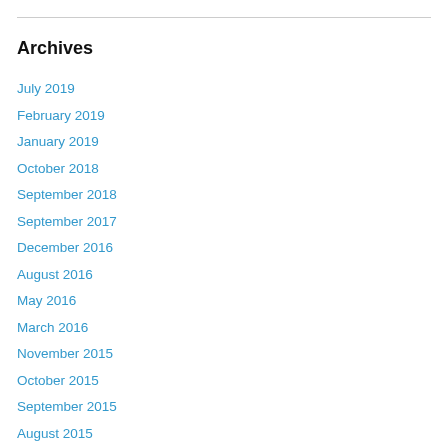Archives
July 2019
February 2019
January 2019
October 2018
September 2018
September 2017
December 2016
August 2016
May 2016
March 2016
November 2015
October 2015
September 2015
August 2015
July 2015
June 2015